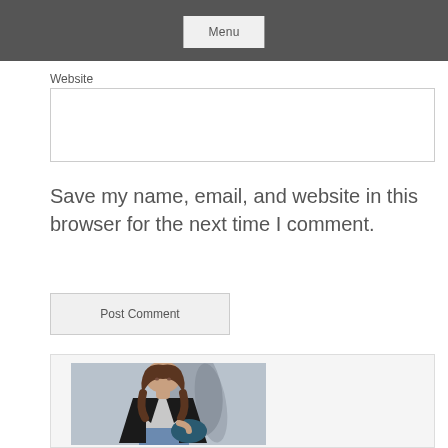Menu
Website
Save my name, email, and website in this browser for the next time I comment.
Post Comment
[Figure (photo): A woman with brown shoulder-length hair wearing a black blazer over a grey t-shirt and distressed jeans, holding a dark teal clutch bag, standing against a concrete wall with shadow patterns]